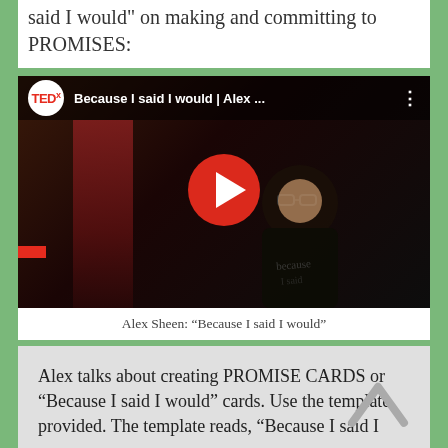said I would” on making and committing to PROMISES:
[Figure (screenshot): YouTube video thumbnail showing a TEDx talk titled 'Because I said I would | Alex ...' featuring a man in a black shirt speaking on stage. A red play button is centered on the thumbnail. The TEDx logo appears in the top-left corner.]
Alex Sheen: “Because I said I would”
Alex talks about creating PROMISE CARDS or “Because I said I would” cards. Use the template provided. The template reads, “Because I said I